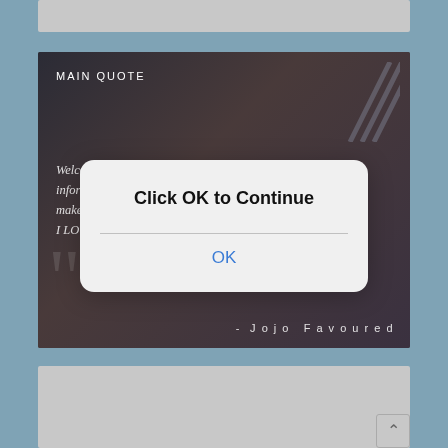[Figure (screenshot): Screenshot of a blog website showing a main quote section with a dark background featuring a person, text 'MAIN QUOTE' and an italic welcome message signed by Jojo Favoured, with a mobile dialog overlay saying 'Click OK to Continue' with an OK button]
MAIN QUOTE
Welcome to my Blog. Here I post informative and inspirational articles. Do make sure to subscribe for updates. I LOVE YOU!
- Jojo Favoured
Click OK to Continue
OK